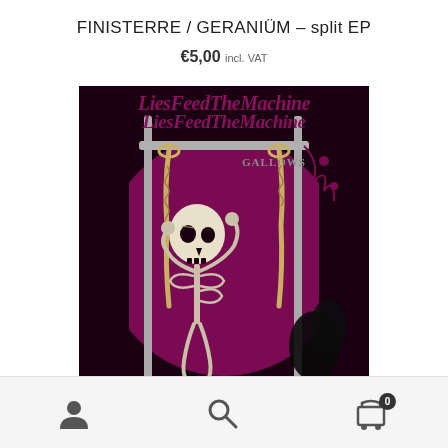FINISTERRE / GERANIÜM – split EP
€5,00 incl. VAT
[Figure (photo): Album cover art for a split EP showing a skeleton figure with a skull head, hanging ropes on a dark purple/maroon background with decorative art nouveau style elements. Text reads 'Lies Feed the Machine' and 'Gallows' in stylized gothic lettering.]
User icon | Search icon | Cart icon with badge 0